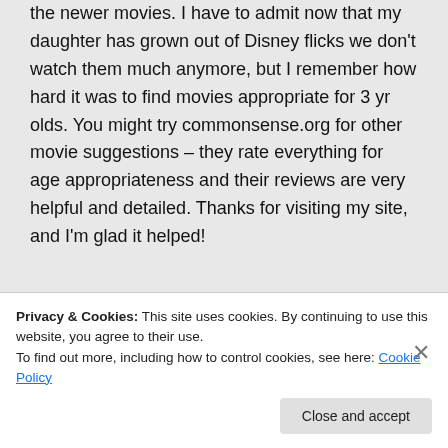the newer movies. I have to admit now that my daughter has grown out of Disney flicks we don't watch them much anymore, but I remember how hard it was to find movies appropriate for 3 yr olds. You might try commonsense.org for other movie suggestions – they rate everything for age appropriateness and their reviews are very helpful and detailed. Thanks for visiting my site, and I'm glad it helped!
Privacy & Cookies: This site uses cookies. By continuing to use this website, you agree to their use.
To find out more, including how to control cookies, see here: Cookie Policy